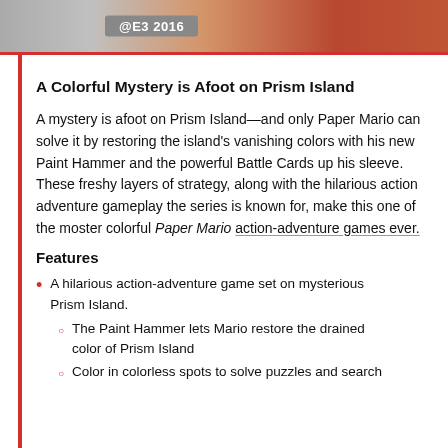[Figure (photo): Top banner image showing '@E3 2016' badge on a gray/orange background, with colorful game imagery visible]
A Colorful Mystery is Afoot on Prism Island
A mystery is afoot on Prism Island—and only Paper Mario can solve it by restoring the island's vanishing colors with his new Paint Hammer and the powerful Battle Cards up his sleeve. These freshy layers of strategy, along with the hilarious action adventure gameplay the series is known for, make this one of the moster colorful Paper Mario action-adventure games ever.
Features
A hilarious action-adventure game set on mysterious Prism Island.
The Paint Hammer lets Mario restore the drained color of Prism Island
Color in colorless spots to solve puzzles and search